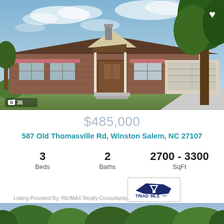[Figure (photo): Exterior photo of a single-story brick ranch home with brown roof, white garage, covered front porch, large tree on right, blue sky background]
$485,000
587 Old Thomasville Rd, Winston Salem, NC 27107
3 Beds
2 Baths
2700 - 3300 SqFt
Listing Provided By: RE/MAX Realty Consultants
[Figure (logo): Triad MLS logo with North Carolina state outline and triangle symbol]
[Figure (photo): Partial view of another property photo showing trees at the bottom edge]